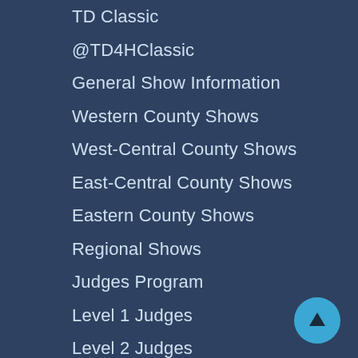TD Classic
@TD4HClassic
General Show Information
Western County Shows
West-Central County Shows
East-Central County Shows
Eastern County Shows
Regional Shows
Judges Program
Level 1 Judges
Level 2 Judges
Level 3 Judges
Level 4 Judges
Level 5 Judges
Calendar
The Link Magazine
Past Issues
[Figure (illustration): Circular blue scroll-to-top button with an upward arrow icon, positioned at the bottom-right of the page.]